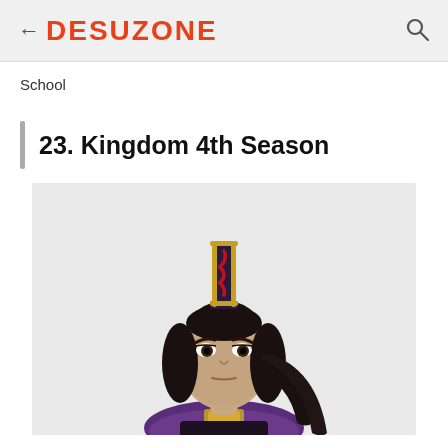← DESUZONE
School
23. Kingdom 4th Season
[Figure (illustration): Anime character illustration of a stern-looking male character with long black hair pulled up in a tall gold and dark ornate headpiece/crown, wearing dark armor with gold accents and a purple fur collar, from Kingdom 4th Season]